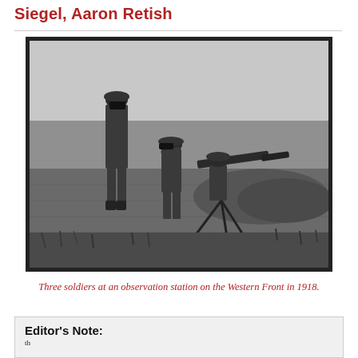Siegel, Aaron Retish
[Figure (photo): Black and white photograph of three soldiers at an observation station on the Western Front in 1918. One soldier stands using binoculars, another kneels with binoculars, and a third operates a mounted rifle or telescope on a tripod in a field setting.]
Three soldiers at an observation station on the Western Front in 1918.
Editor's Note: